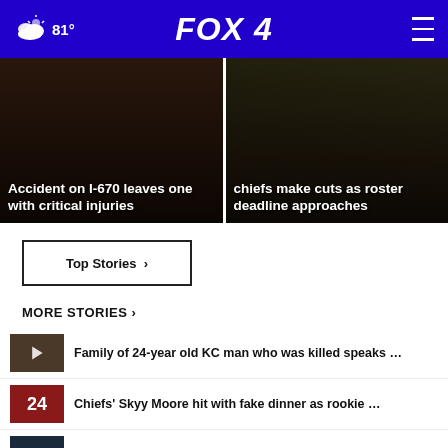81° FOX 4
[Figure (photo): News story card: Accident on I-670 leaves one with critical injuries]
[Figure (photo): News story card: Chiefs make cuts as roster deadline approaches]
Top Stories ›
MORE STORIES ›
Family of 24-year old KC man who was killed speaks …
Chiefs' Skyy Moore hit with fake dinner as rookie …
HIGHLIGHTS: High school football